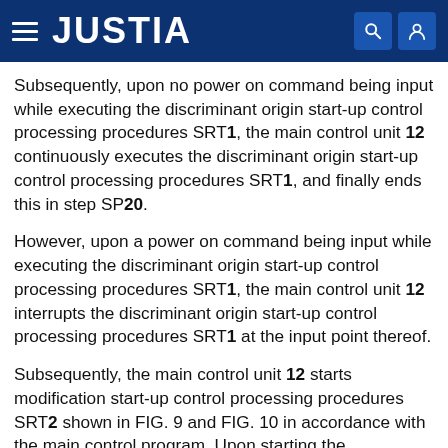JUSTIA
Subsequently, upon no power on command being input while executing the discriminant origin start-up control processing procedures SRT1, the main control unit 12 continuously executes the discriminant origin start-up control processing procedures SRT1, and finally ends this in step SP20.
However, upon a power on command being input while executing the discriminant origin start-up control processing procedures SRT1, the main control unit 12 interrupts the discriminant origin start-up control processing procedures SRT1 at the input point thereof.
Subsequently, the main control unit 12 starts modification start-up control processing procedures SRT2 shown in FIG. 9 and FIG. 10 in accordance with the main control program. Upon starting the modification